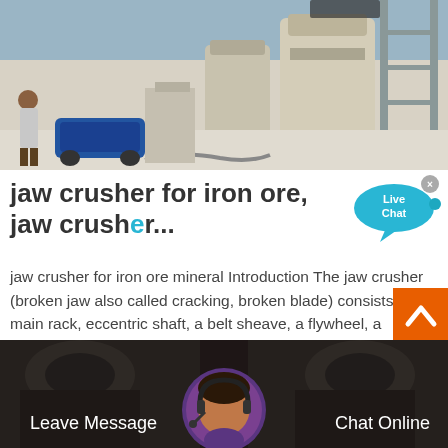[Figure (photo): Industrial photo showing large cylindrical grinding/milling equipment in a factory setting, with a worker and blue compressor visible in the foreground]
jaw crusher for iron ore, jaw crusher...
jaw crusher for iron ore mineral Introduction The jaw crusher (broken jaw also called cracking, broken blade) consists of main rack, eccentric shaft, a belt sheave, a flywheel, a movable jaw, a side guard plate, plate, rear elbow elbow clearance adjusting screw
[Figure (screenshot): Live Chat bubble widget with close button]
[Figure (photo): Bottom bar showing industrial machinery photos with Leave Message and Chat Online buttons, and a customer service avatar with headset]